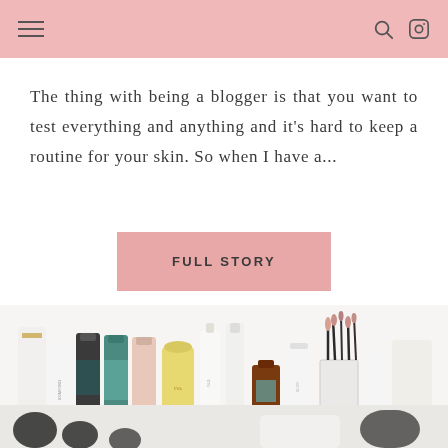The thing with being a blogger is that you want to test everything and anything and it's hard to keep a routine for your skin. So when I have a...
FULL STORY
[Figure (photo): A shelf displaying various skincare and beauty products including serums, sprays, creams, and makeup brushes in a glass holder, arranged neatly on a glass shelf.]
[Figure (photo): Partial view of makeup brushes and beauty tools at the bottom of the page.]